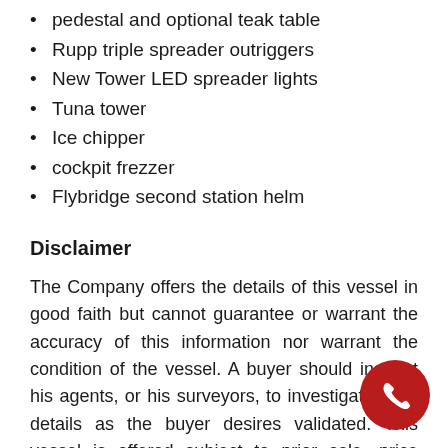pedestal and optional teak table
Rupp triple spreader outriggers
New Tower LED spreader lights
Tuna tower
Ice chipper
cockpit frezzer
Flybridge second station helm
Disclaimer
The Company offers the details of this vessel in good faith but cannot guarantee or warrant the accuracy of this information nor warrant the condition of the vessel. A buyer should instruct his agents, or his surveyors, to investigate such details as the buyer desires validated. This vessel is offered subject to prior sale, price change, or withdrawal without notice.